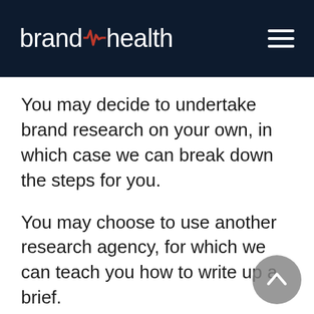brandhealth
You may decide to undertake brand research on your own, in which case we can break down the steps for you.
You may choose to use another research agency, for which we can teach you how to write up a brief.
If you do choose to trust us with your brand research, though, we will guide you through the process and ensure you find the insights you need to inform winning